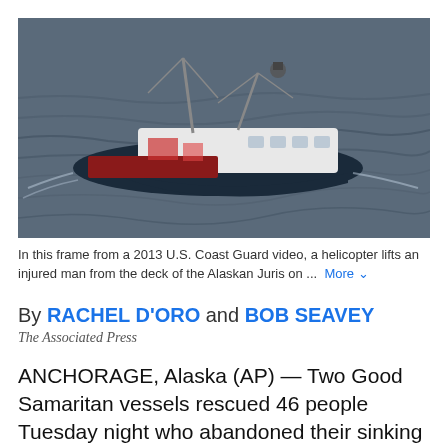[Figure (photo): A fishing vessel at sea photographed from above, with outriggers and equipment visible on deck, surrounded by dark choppy ocean water. Frame from a 2013 U.S. Coast Guard video.]
In this frame from a 2013 U.S. Coast Guard video, a helicopter lifts an injured man from the deck of the Alaskan Juris on ... More
By RACHEL D'ORO and BOB SEAVEY
The Associated Press
ANCHORAGE, Alaska (AP) — Two Good Samaritan vessels rescued 46 people Tuesday night who abandoned their sinking fishing boat in the Bering